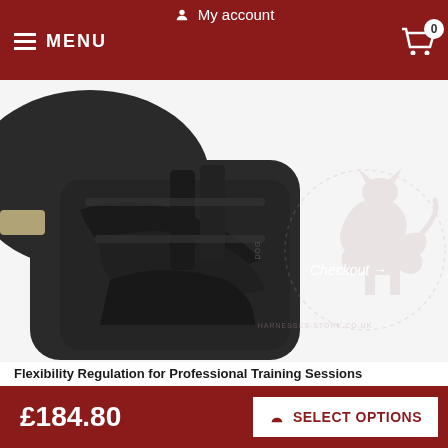My account | MENU | 0
[Figure (photo): Close-up photo of a dark grey/black dog bite training sleeve with multiple layers of padded material, with a dog-harnesses-store.co.uk watermark logo visible]
Checkout →
Flexibility Regulation for Professional Training Sessions
Key qualities of this IGP Training Sleeve:
Functionality of this Bite Protection Sleeve:
£184.80 | SELECT OPTIONS